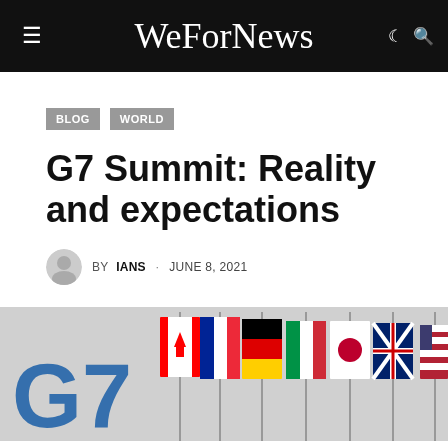WeForNews
BLOG   WORLD
G7 Summit: Reality and expectations
BY IANS · JUNE 8, 2021
[Figure (photo): G7 flags lined up on poles against a light grey background, with a large blue 'G7' text visible on the left side. Multiple national flags including Canada, France, Germany, Italy, Japan, UK and USA are displayed.]